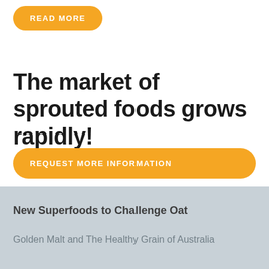READ MORE
The market of sprouted foods grows rapidly!
REQUEST MORE INFORMATION
New Superfoods to Challenge Oat
Golden Malt and The Healthy Grain of Australia